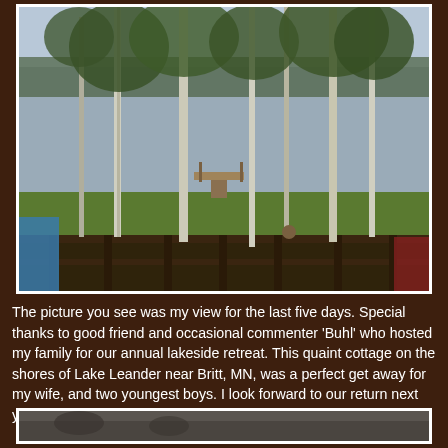[Figure (photo): View from a lakeside cottage deck showing tall birch trees, a lawn, a wooden dock extending into a calm lake, with overcast sky visible through the trees.]
The picture you see was my view for the last five days. Special thanks to good friend and occasional commenter 'Buhl' who hosted my family for our annual lakeside retreat. This quaint cottage on the shores of Lake Leander near Britt, MN, was a perfect get away for my wife, and two youngest boys. I look forward to our return next year, but was ready to come home.
[Figure (photo): Partial view of another photo at the bottom of the page, showing what appears to be a ground-level outdoor scene.]